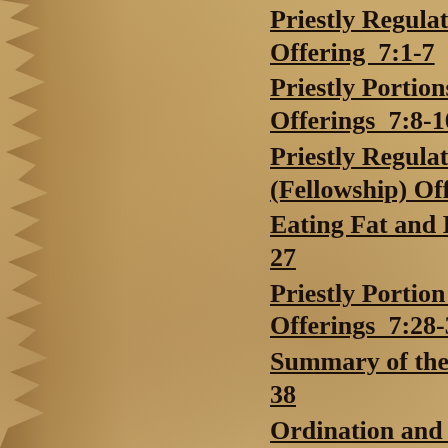Priestly Regulations for Offering  7:1-7
Priestly Portions of the Offerings  7:8-10
Priestly Regulations for (Fellowship) Offering
Eating Fat and Blood Fo 27
Priestly Portion of Peace Offerings  7:28-36
Summary of the Sacrific 38
Ordination and Consecr